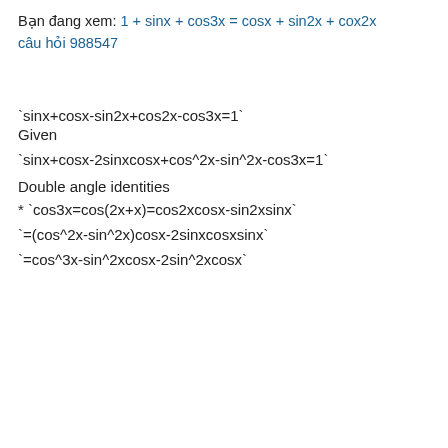Bạn đang xem: 1 + sinx + cos3x = cosx + sin2x + cox2x câu hỏi 988547
Given
Double angle identities
* `cos3x=cos(2x+x)=cos2xcosx-sin2xsinx`